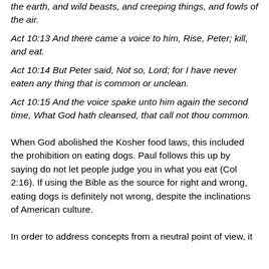the earth, and wild beasts, and creeping things, and fowls of the air.
Act 10:13 And there came a voice to him, Rise, Peter; kill, and eat.
Act 10:14 But Peter said, Not so, Lord; for I have never eaten any thing that is common or unclean.
Act 10:15 And the voice spake unto him again the second time, What God hath cleansed, that call not thou common.
When God abolished the Kosher food laws, this included the prohibition on eating dogs. Paul follows this up by saying do not let people judge you in what you eat (Col 2:16). If using the Bible as the source for right and wrong, eating dogs is definitely not wrong, despite the inclinations of American culture.
In order to address concepts from a neutral point of view, it